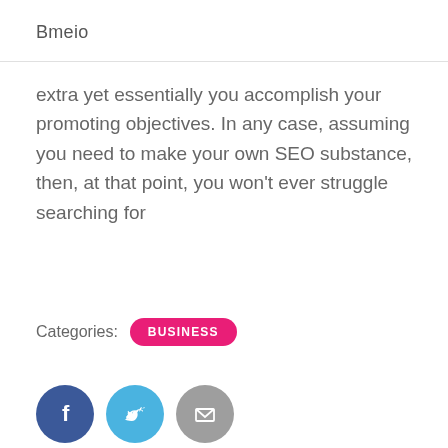Bmeio
extra yet essentially you accomplish your promoting objectives. In any case, assuming you need to make your own SEO substance, then, at that point, you won't ever struggle searching for
Categories: BUSINESS
[Figure (infographic): Three social share buttons: Facebook (dark blue circle with f icon), Twitter (light blue circle with bird icon), Email (grey circle with envelope icon)]